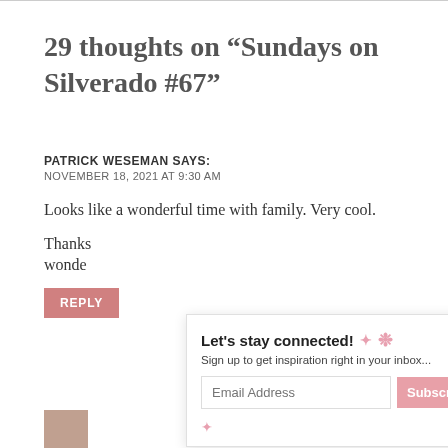29 thoughts on “Sundays on Silverado #67”
PATRICK WESEMAN SAYS:
NOVEMBER 18, 2021 AT 9:30 AM
Looks like a wonderful time with family. Very cool.
Thanks
wonde
[Figure (screenshot): Email subscription popup overlay reading 'Let’s stay connected! Sign up to get inspiration right in your inbox...' with an Email Address input field, a Subscribe button, and an X CLOSE button. Pink flower decorations visible.]